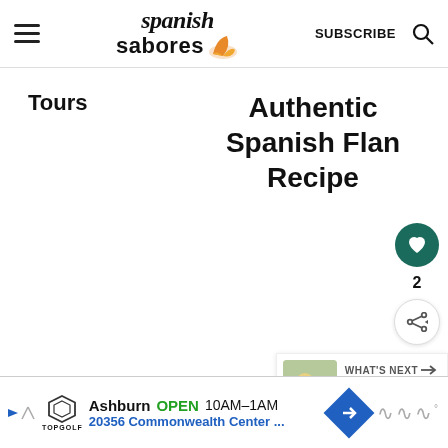Spanish Sabores | SUBSCRIBE
Tours
Authentic Spanish Flan Recipe
[Figure (other): Heart/like button (green circle with heart icon), count label '2', and share button (circle with share icon)]
[Figure (other): What's Next panel with food thumbnail and text 'Where to Eat Vegetarian...']
[Figure (other): Topgolf advertisement banner: Ashburn OPEN 10AM-1AM, 20356 Commonwealth Center...]